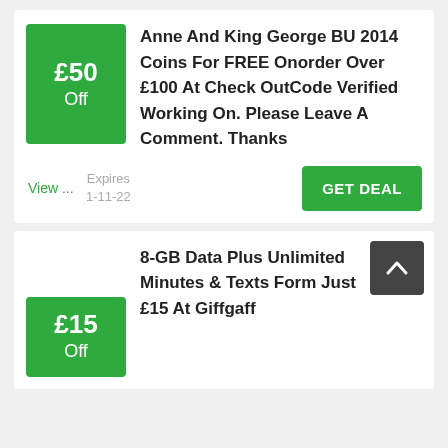[Figure (other): Green badge showing £50 Off]
Anne And King George BU 2014 Coins For FREE Onorder Over £100 At Check OutCode Verified Working On. Please Leave A Comment. Thanks
View ...
Expires 1-11-22
GET DEAL
8-GB Data Plus Unlimited Minutes & Texts Form Just £15 At Giffgaff
[Figure (other): Green badge showing £15 Off]